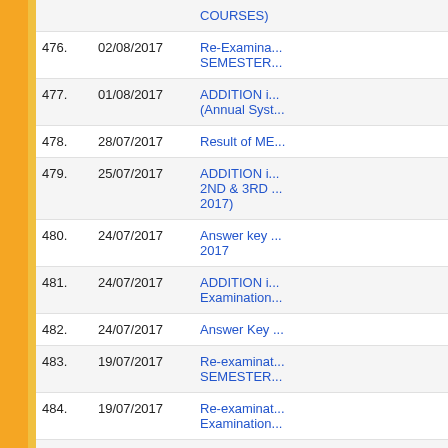| No. | Date | Description |
| --- | --- | --- |
|  |  | COURSES) |
| 476. | 02/08/2017 | Re-Examina... SEMESTER... |
| 477. | 01/08/2017 | ADDITION i... (Annual Syst... |
| 478. | 28/07/2017 | Result of MB... |
| 479. | 25/07/2017 | ADDITION i... 2ND & 3RD ... 2017) |
| 480. | 24/07/2017 | Answer key ... 2017 |
| 481. | 24/07/2017 | ADDITION i... Examination... |
| 482. | 24/07/2017 | Answer Key ... |
| 483. | 19/07/2017 | Re-examinat... SEMESTER... |
| 484. | 19/07/2017 | Re-examinat... Examination... |
| 485. | 19/07/2017 | Answer Key ... Test-2017 |
| 486. | 18/07/2017 | MPHIL/PHD... |